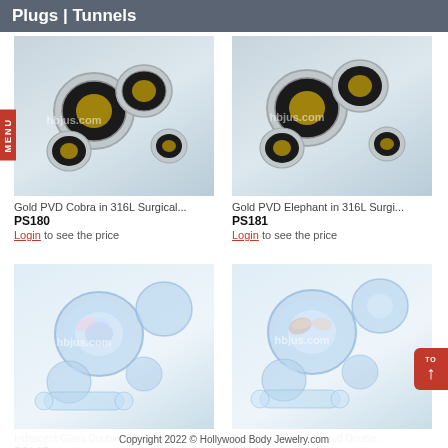Plugs | Tunnels
[Figure (photo): Gold PVD Cobra in 316L Surgical Steel plug jewelry product photo with hbjus.com watermark]
Gold PVD Cobra in 316L Surgical...
PS180
Login to see the price
[Figure (photo): Gold PVD Elephant in 316L Surgical Steel plug jewelry product photo with hbjus.com watermark]
Gold PVD Elephant in 316L Surgi...
PS181
Login to see the price
[Figure (photo): Iridescent Glass Double Flare Plugs product photo with hbjus.com watermark]
Iridescent Glass Double Flare Plugs...
PGL25
Login to see the price
[Figure (photo): Iridescent Glass Faceted Double product photo with hbjus.com watermark]
Iridescent Glass Faceted Double...
PGL26
Login to see the price
Copyright 2022 © Hollywood Body Jewelry.com